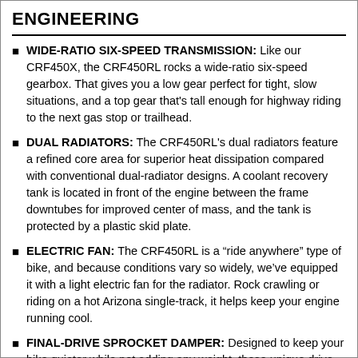ENGINEERING
WIDE-RATIO SIX-SPEED TRANSMISSION: Like our CRF450X, the CRF450RL rocks a wide-ratio six-speed gearbox. That gives you a low gear perfect for tight, slow situations, and a top gear that's tall enough for highway riding to the next gas stop or trailhead.
DUAL RADIATORS: The CRF450RL's dual radiators feature a refined core area for superior heat dissipation compared with conventional dual-radiator designs. A coolant recovery tank is located in front of the engine between the frame downtubes for improved center of mass, and the tank is protected by a plastic skid plate.
ELECTRIC FAN: The CRF450RL is a “ride anywhere” type of bike, and because conditions vary so widely, we’ve equipped it with a light electric fan for the radiator. Rock crawling or riding on a hot Arizona single-track, it helps keep your engine running cool.
FINAL-DRIVE SPROCKET DAMPER: Designed to keep your bike quieter while not adding any weight, these unique drive sprockets are just another example of the